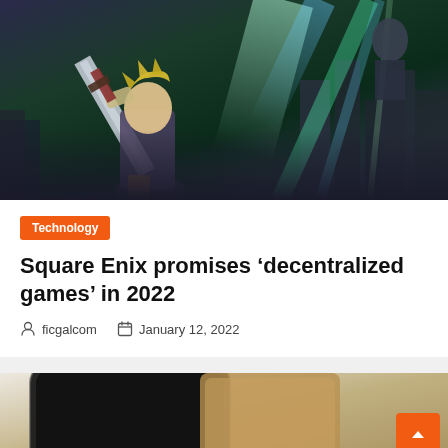[Figure (screenshot): Video game screenshot showing a character (Cloud from Final Fantasy VII) holding a large sword in a dark futuristic city scene with green and teal light beams in the background.]
Technology
Square Enix promises ‘decentralized games’ in 2022
ficgalcom   January 12, 2022
[Figure (photo): Partial view of a smartphone being held, showing the edge and back of the device.]